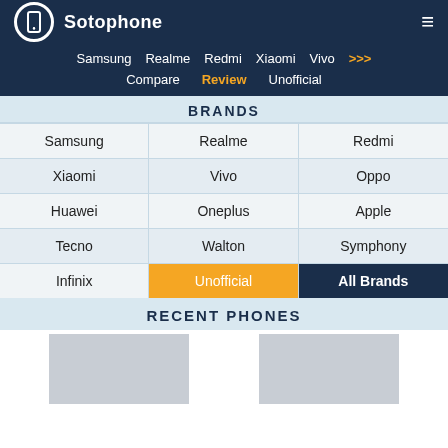Sotophone
Samsung   Realme   Redmi   Xiaomi   Vivo   >>>
Compare   Review   Unofficial
BRANDS
| Samsung | Realme | Redmi |
| Xiaomi | Vivo | Oppo |
| Huawei | Oneplus | Apple |
| Tecno | Walton | Symphony |
| Infinix | Unofficial | All Brands |
RECENT PHONES
[Figure (photo): Phone placeholder image, gray rectangle]
[Figure (photo): Phone placeholder image, gray rectangle]